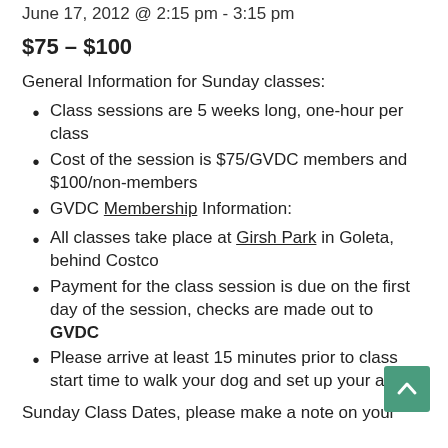June 17, 2012 @ 2:15 pm - 3:15 pm
$75 – $100
General Information for Sunday classes:
Class sessions are 5 weeks long, one-hour per class
Cost of the session is $75/GVDC members and $100/non-members
GVDC Membership Information:
All classes take place at Girsh Park in Goleta, behind Costco
Payment for the class session is due on the first day of the session, checks are made out to GVDC
Please arrive at least 15 minutes prior to class start time to walk your dog and set up your area
Sunday Class Dates, please make a note on your